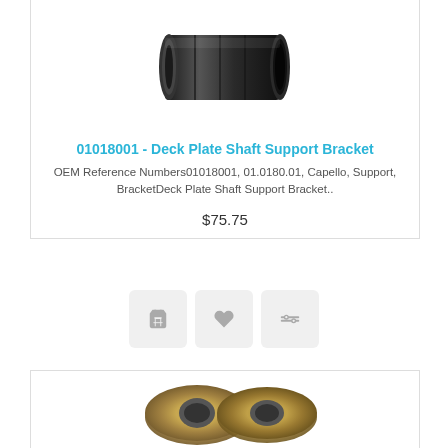[Figure (photo): Black cylindrical metal shaft support bracket, shown from an angle against white background]
01018001 - Deck Plate Shaft Support Bracket
OEM Reference Numbers01018001, 01.0180.01, Capello, Support, BracketDeck Plate Shaft Support Bracket..
$75.75
[Figure (photo): Two golden/bronze colored round washers or flanged bushings shown from above against white background]